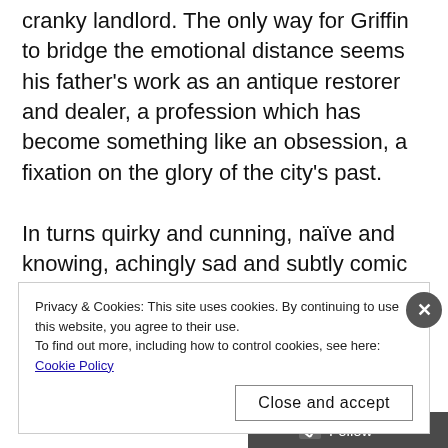cranky landlord. The only way for Griffin to bridge the emotional distance seems his father's work as an antique restorer and dealer, a profession which has become something like an obsession, a fixation on the glory of the city's past.

In turns quirky and cunning, naïve and knowing, achingly sad and subtly comic Gill conjures visuals that will fill your mind and family drama that will haunt you, a combination that leaves you longing
Privacy & Cookies: This site uses cookies. By continuing to use this website, you agree to their use. To find out more, including how to control cookies, see here: Cookie Policy
Close and accept
Follow